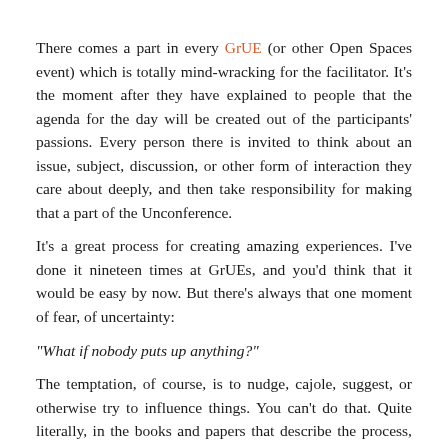There comes a part in every GrUE (or other Open Spaces event) which is totally mind-wracking for the facilitator. It's the moment after they have explained to people that the agenda for the day will be created out of the participants' passions. Every person there is invited to think about an issue, subject, discussion, or other form of interaction they care about deeply, and then take responsibility for making that a part of the Unconference.
It's a great process for creating amazing experiences. I've done it nineteen times at GrUEs, and you'd think that it would be easy by now. But there's always that one moment of fear, of uncertainty:
“What if nobody puts up anything?”
The temptation, of course, is to nudge, cajole, suggest, or otherwise try to influence things. You can't do that. Quite literally, in the books and papers that describe the process, Harrison Owen suggests that the facilitator stick their hands in their pockets, or go get coffee, or do